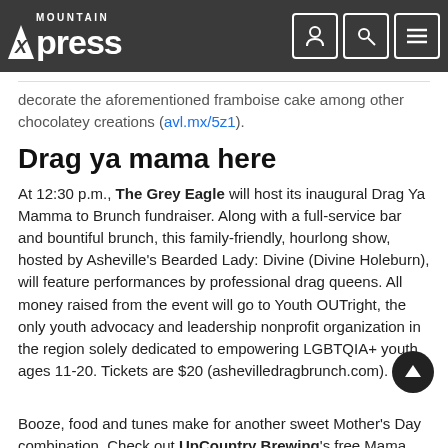Mountain Xpress
decorate the aforementioned framboise cake among other chocolatey creations (avl.mx/5z1).
Drag ya mama here
At 12:30 p.m., The Grey Eagle will host its inaugural Drag Ya Mamma to Brunch fundraiser. Along with a full-service bar and bountiful brunch, this family-friendly, hourlong show, hosted by Asheville's Bearded Lady: Divine (Divine Holeburn), will feature performances by professional drag queens. All money raised from the event will go to Youth OUTright, the only youth advocacy and leadership nonprofit organization in the region solely dedicated to empowering LGBTQIA+ youth ages 11-20. Tickets are $20 (ashevilledragbrunch.com).
Booze, food and tunes make for another sweet Mother's Day combination. Check out UpCountry Brewing's free Mama Tried: Mother's Day Music show 3-7 p.m., featuring